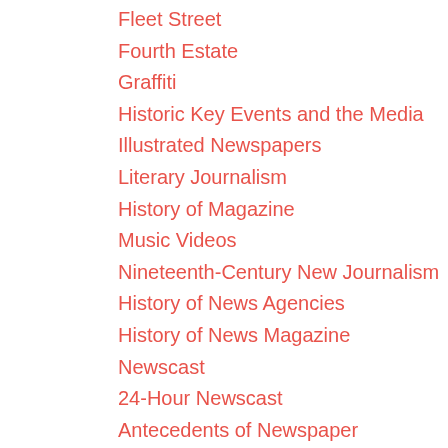Fleet Street
Fourth Estate
Graffiti
Historic Key Events and the Media
Illustrated Newspapers
Literary Journalism
History of Magazine
Music Videos
Nineteenth-Century New Journalism
History of News Agencies
History of News Magazine
Newscast
24-Hour Newscast
Antecedents of Newspaper
History of Newspaper
Paperback Fiction
Penny Press